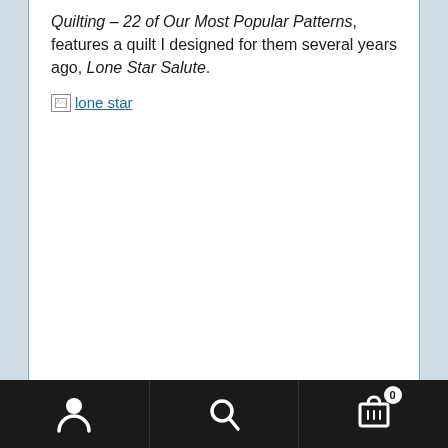Quilting – 22 of Our Most Popular Patterns, features a quilt I designed for them several years ago, Lone Star Salute.
[Figure (other): Broken image placeholder link labeled 'lone star']
Bottom navigation bar with user icon, search icon, and cart icon with badge showing 0